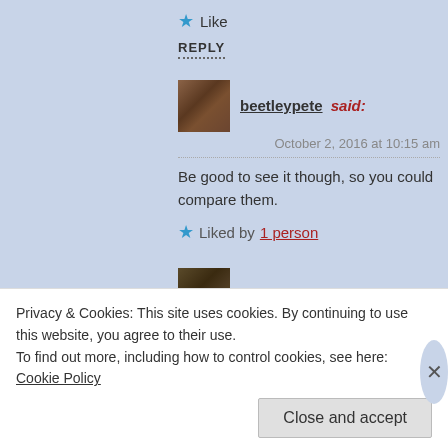★ Like
REPLY
beetleypete said:
October 2, 2016 at 10:15 am
Be good to see it though, so you could compare them.
★ Liked by 1 person
vinnieh said:
October 2, 2016 at 10:16 am
Privacy & Cookies: This site uses cookies. By continuing to use this website, you agree to their use.
To find out more, including how to control cookies, see here: Cookie Policy
Close and accept